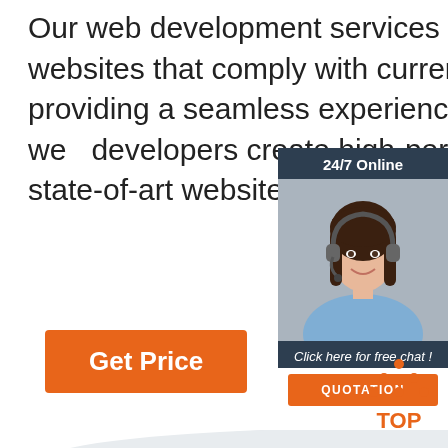Our web development services helps you to develop websites that comply with current industry standards, providing a seamless experience to your end-users.. Our web developers create high-performing websites using state-of-art website development
[Figure (other): Chat widget with a woman wearing a headset, '24/7 Online' header, 'Click here for free chat!' text, and an orange QUOTATION button]
Get Price
[Figure (photo): Industrial meat grinder / food processing machine, silver/stainless steel with red and blue valve handles, partial view]
[Figure (other): TOP button with orange dot triangle icon above the word TOP in orange]